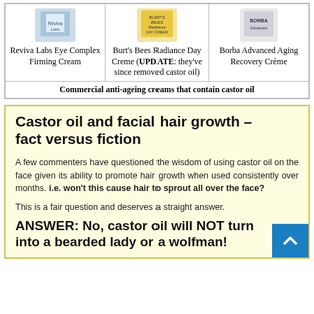| Reviva Labs Eye Complex Firming Cream | Burt's Bees Radiance Day Creme (UPDATE: they've since removed castor oil) | Borba Advanced Aging Recovery Crème |
| --- | --- | --- |
| [product image] | [product image] | [product image] |
Castor oil and facial hair growth – fact versus fiction
A few commenters have questioned the wisdom of using castor oil on the face given its ability to promote hair growth when used consistently over months. i.e. won't this cause hair to sprout all over the face?
This is a fair question and deserves a straight answer.
ANSWER: No, castor oil will NOT turn into a bearded lady or a wolfman!